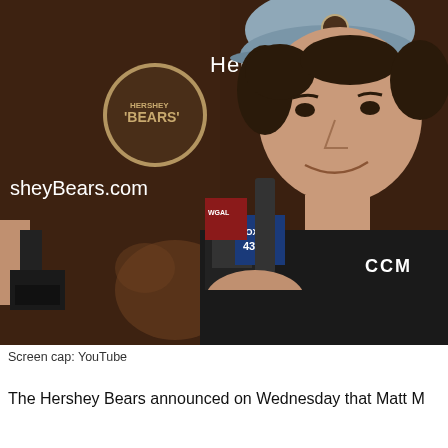[Figure (photo): A hockey player in a black CCM jersey and grey/white baseball cap holding microphones during a press conference in front of a Hershey Bears branded backdrop. A hand with a recorder is visible from the left side.]
Screen cap: YouTube
The Hershey Bears announced on Wednesday that Matt M